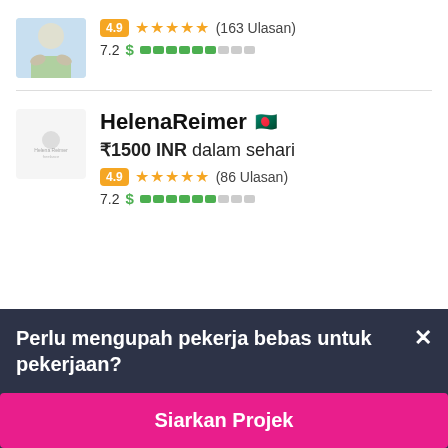[Figure (screenshot): Top freelancer card showing rating 4.9, 5 stars, (163 Ulasan), score 7.2 with green bar segments]
[Figure (screenshot): Freelancer card for HelenaReimer with Bangladesh flag, ₹1500 INR dalam sehari, rating 4.9, 5 stars, (86 Ulasan), score 7.2]
Perlu mengupah pekerja bebas untuk pekerjaan?
Siarkan Projek